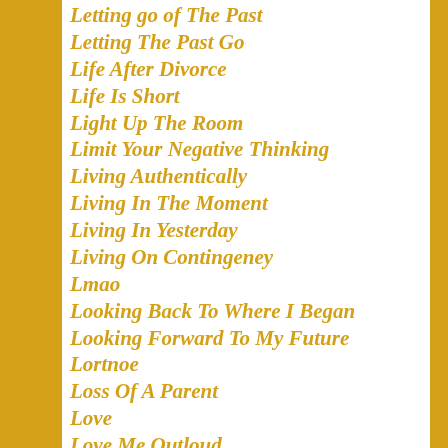Letting go of The Past
Letting The Past Go
Life After Divorce
Life Is Short
Light Up The Room
Limit Your Negative Thinking
Living Authentically
Living In The Moment
Living In Yesterday
Living On Contingeney
Lmao
Looking Back To Where I Began
Looking Forward To My Future
Lortnoe
Loss Of A Parent
Love
Love Me Outloud
Love Mom